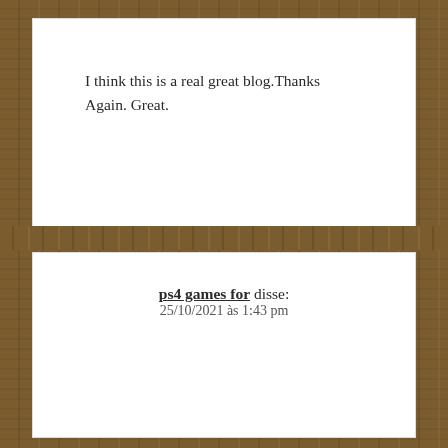I think this is a real great blog.Thanks Again. Great.
ps4 games for disse:
25/10/2021 às 1:43 pm
I was wondering if you ever thought of changing the page layout of your blog?
Its very well written; I love what youve got to say.
But maybe you could a little more in the way of content so people could connect with it better.
Youve got an awful lot of text for only having one or 2 pictures.
Maybe you could space it out better?